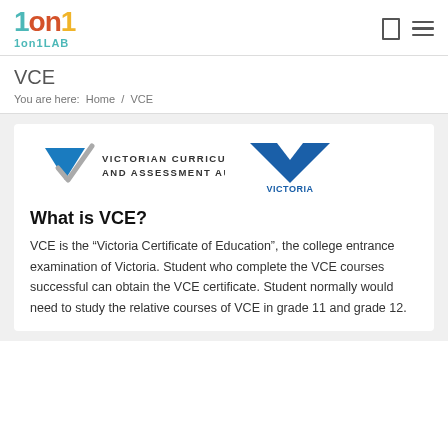[Figure (logo): 1on1LAB logo with colourful letters and teal '1on1LAB' text below]
VCE
You are here: Home / VCE
[Figure (logo): Victorian Curriculum and Assessment Authority logo and Victoria State Government logo]
What is VCE?
VCE is the “Victoria Certificate of Education”, the college entrance examination of Victoria. Student who complete the VCE courses successful can obtain the VCE certificate. Student normally would need to study the relative courses of VCE in grade 11 and grade 12.